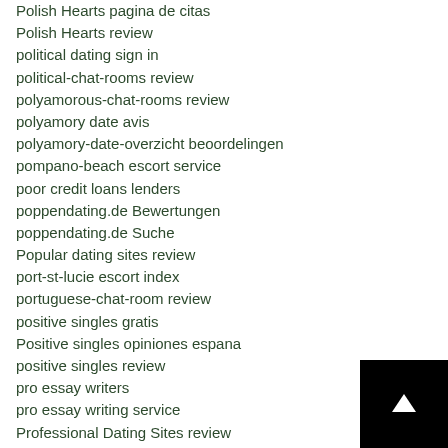Polish Hearts pagina de citas
Polish Hearts review
political dating sign in
political-chat-rooms review
polyamorous-chat-rooms review
polyamory date avis
polyamory-date-overzicht beoordelingen
pompano-beach escort service
poor credit loans lenders
poppendating.de Bewertungen
poppendating.de Suche
Popular dating sites review
port-st-lucie escort index
portuguese-chat-room review
positive singles gratis
Positive singles opiniones espana
positive singles review
pro essay writers
pro essay writing service
Professional Dating Sites review